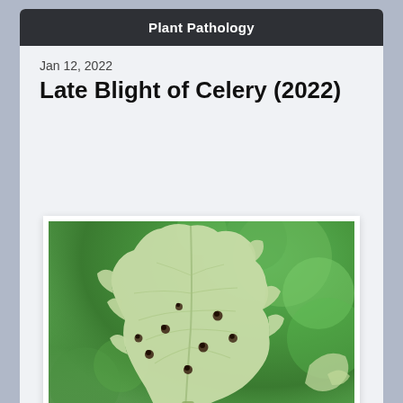Plant Pathology
Jan 12, 2022
Late Blight of Celery (2022)
[Figure (photo): Close-up photograph of a celery leaf showing late blight disease symptoms — small dark brown spots scattered across the light green leaf surface. The leaf has a lobed/serrated edge. Background is blurred green foliage (bokeh effect).]